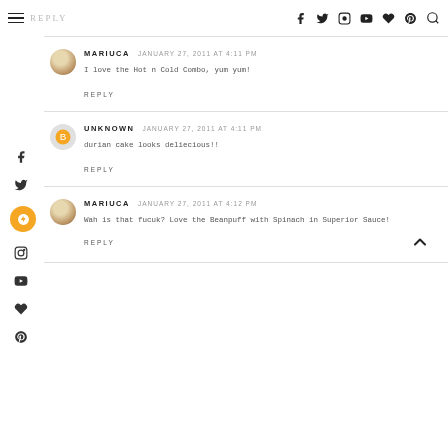REPLY
MARIUCA   JANUARY 27, 2011 AT 4:11 PM
I love the Hot n Cold Combo, yum yum!
REPLY
UNKNOWN   JANUARY 27, 2011 AT 4:11 PM
durian cake looks deliecious!!
REPLY
MARIUCA   JANUARY 27, 2011 AT 4:12 PM
Wah is that fucuk? Love the Beanpuff with Spinach in Superior Sauce!
REPLY